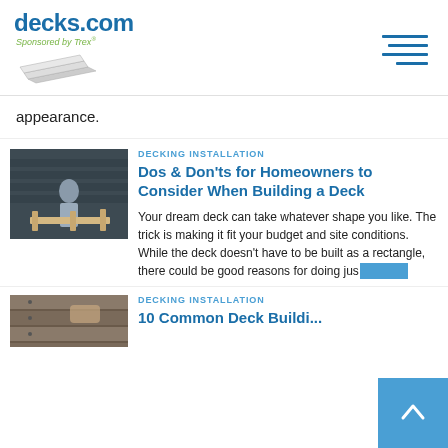decks.com Sponsored by Trex®
appearance.
DECKING INSTALLATION
Dos & Don'ts for Homeowners to Consider When Building a Deck
Your dream deck can take whatever shape you like. The trick is making it fit your budget and site conditions. While the deck doesn't have to be built as a rectangle, there could be good reasons for doing jus...
DECKING INSTALLATION